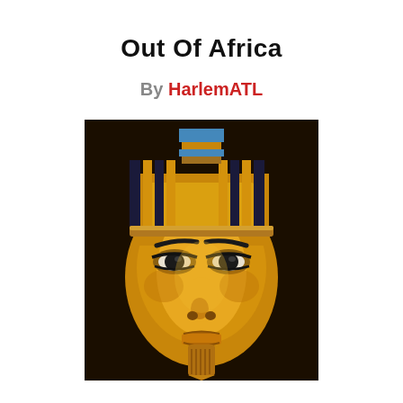Out Of Africa
By HarlemATL
[Figure (photo): Close-up photograph of the golden death mask of Tutankhamun, an ancient Egyptian pharaoh, showing the golden face with dark-lined eyes, striped headdress with blue and gold bands, and a golden beard. The mask has a dark background at the top.]